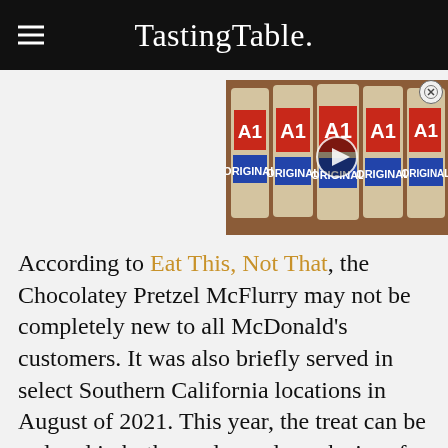Tasting Table.
[Figure (photo): Video thumbnail showing multiple A1 Original Steak Sauce bottles on a shelf, with a play button overlay]
According to Eat This, Not That, the Chocolatey Pretzel McFlurry may not be completely new to all McDonald's customers. It was also briefly served in select Southern California locations in August of 2021. This year, the treat can be ordered in both regular and snack sizes for $3.29 and $2.59,